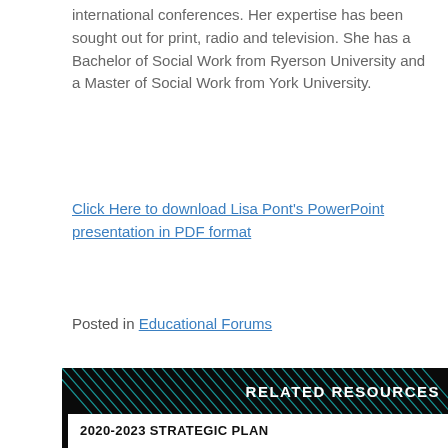international conferences. Her expertise has been sought out for print, radio and television. She has a Bachelor of Social Work from Ryerson University and a Master of Social Work from York University.
Click Here to download Lisa Pont's PowerPoint presentation in PDF format
Posted in Educational Forums
RELATED RESOURCES
2020-2023 STRATEGIC PLAN
2020 ANNUAL REPORT
DATES